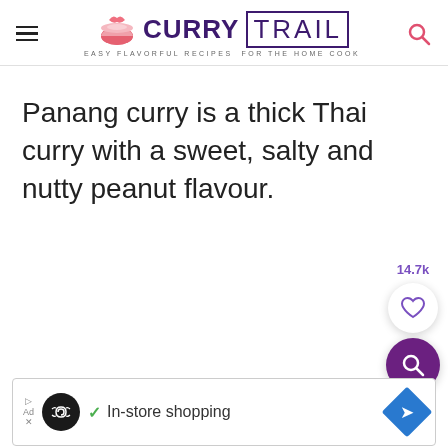CURRY TRAIL — EASY FLAVORFUL RECIPES FOR THE HOME COOK
Panang curry is a thick Thai curry with a sweet, salty and nutty peanut flavour.
[Figure (other): Social share/like button showing 14.7k likes with a heart icon, and a purple search button below it]
[Figure (other): Advertisement banner: In-store shopping ad with a circular infinity logo, checkmark, and blue diamond navigation icon]